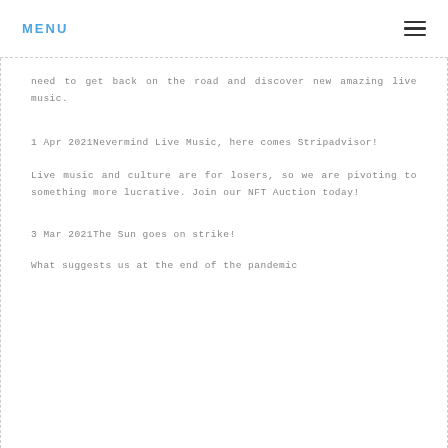MENU
need to get back on the road and discover new amazing live music.
1 Apr 2021Nevermind Live Music, here comes Stripadvisor!
Live music and culture are for losers, so we are pivoting to something more lucrative. Join our NFT Auction today!
3 Mar 2021The Sun goes on strike!
What suggests us at the end of the pandemic